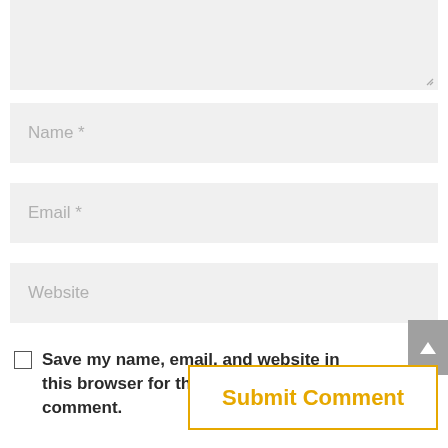[Figure (screenshot): Comment form textarea (top portion, partially cropped), showing a light grey empty text area with a resize handle at bottom right.]
Name *
Email *
Website
Save my name, email, and website in this browser for the next time I comment.
Submit Comment